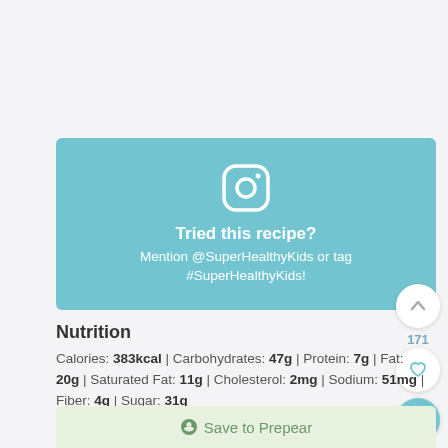[Figure (other): Instagram social media banner with camera icon, bold text 'Tried this recipe?' and subtitle 'Mention @SuperHealthyKids or tag #SuperHealthyKids!' on teal background]
Nutrition
Calories: 383kcal | Carbohydrates: 47g | Protein: 7g | Fat: 20g | Saturated Fat: 11g | Cholesterol: 2mg | Sodium: 51mg | Fiber: 4g | Sugar: 31g
Save to Prepear